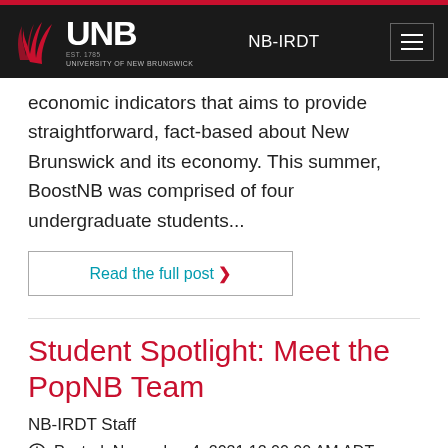UNB | NB-IRDT
economic indicators that aims to provide straightforward, fact-based about New Brunswick and its economy. This summer, BoostNB was comprised of four undergraduate students...
Read the full post ›
Student Spotlight: Meet the PopNB Team
NB-IRDT Staff
Posted: November 4, 2021 12:00:00 AM ADT